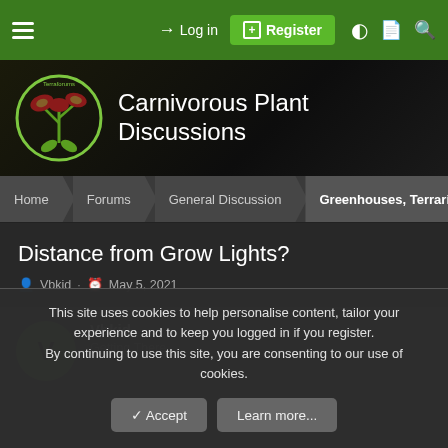Log in | Register
Carnivorous Plant Discussions
Home · Forums · General Discussion · Greenhouses, Terrariums and
Distance from Grow Lights?
Vbkid · May 5, 2021
Vbkid
Getting There...
This site uses cookies to help personalise content, tailor your experience and to keep you logged in if you register.
By continuing to use this site, you are consenting to our use of cookies.